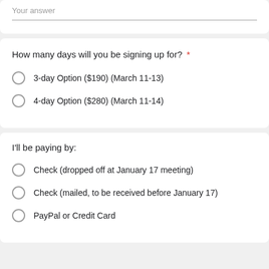Your answer
How many days will you be signing up for? *
3-day Option ($190) (March 11-13)
4-day Option ($280) (March 11-14)
I'll be paying by:
Check (dropped off at January 17 meeting)
Check (mailed, to be received before January 17)
PayPal or Credit Card